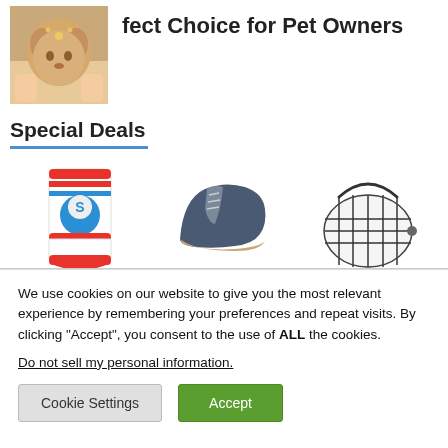[Figure (photo): Photo of a small fluffy dog held by a person's hands, with decorative accessories visible]
fect Choice for Pet Owners
Special Deals
[Figure (photo): Three product images side by side: colorful novelty socks with dog/cartoon design, a dark suede chukka boot, and a white wire pet carrier/cage]
We use cookies on our website to give you the most relevant experience by remembering your preferences and repeat visits. By clicking “Accept”, you consent to the use of ALL the cookies.
Do not sell my personal information.
Cookie Settings
Accept